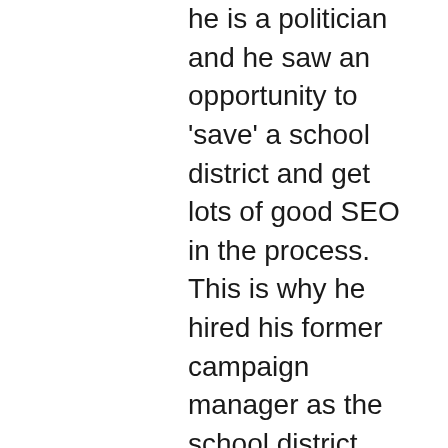he is a politician and he saw an opportunity to 'save' a school district and get lots of good SEO in the process. This is why he hired his former campaign manager as the school district 'spokesperson' (without interviewing many, if any other candidates). Watch the news reports – check out how many times Thurmond's name is mentioned in the 'good news' that is reported about DeKalb. The guy is a brilliant politician – but he has not made improvements for the students in DeKalb whatsoever. We guarantee that if placed in the position to choose again, Thurmond would again choose to forgo his local DeKalb public school and send his own daughter to private school. Children are suffering a very poor education in many parts of this county – but Thurmond only picks and chooses to highlight